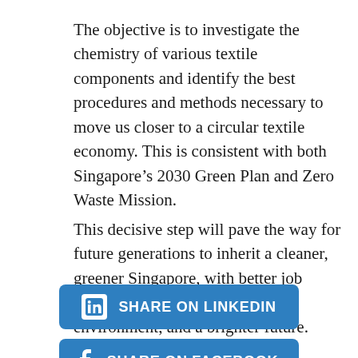The objective is to investigate the chemistry of various textile components and identify the best procedures and methods necessary to move us closer to a circular textile economy. This is consistent with both Singapore's 2030 Green Plan and Zero Waste Mission.
This decisive step will pave the way for future generations to inherit a cleaner, greener Singapore, with better job prospects, a more sustainable environment, and a brighter future.
[Figure (other): Blue 'Share on LinkedIn' button with LinkedIn logo icon]
[Figure (other): Blue 'Share on Facebook' button with Facebook logo icon, partially visible]